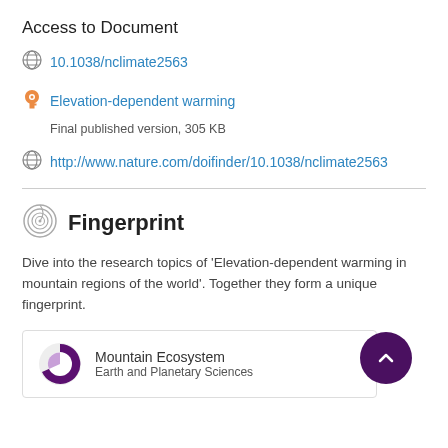Access to Document
10.1038/nclimate2563
Elevation-dependent warming
Final published version, 305 KB
http://www.nature.com/doifinder/10.1038/nclimate2563
Fingerprint
Dive into the research topics of 'Elevation-dependent warming in mountain regions of the world'. Together they form a unique fingerprint.
Mountain Ecosystem
Earth and Planetary Sciences